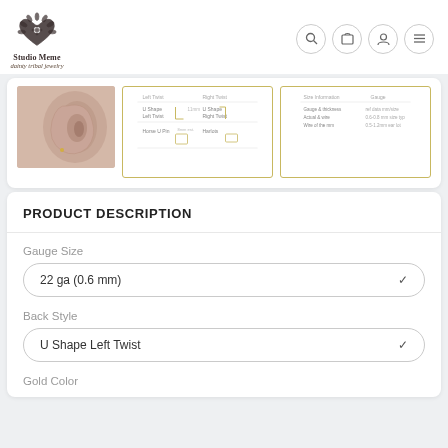[Figure (logo): Studio Meme dainty tribal jewelry logo — decorative heart with floral/tribal motif]
[Figure (photo): Close-up photo of a human ear wearing a small earring]
[Figure (schematic): Earring back style diagram showing U Shape Left Twist, U Shape Right Twist, Horse U Pin, Harlots]
[Figure (table-as-image): Size/measurement reference chart for earring gauge sizes]
PRODUCT DESCRIPTION
Gauge Size
22 ga (0.6 mm)
Back Style
U Shape Left Twist
Gold Color